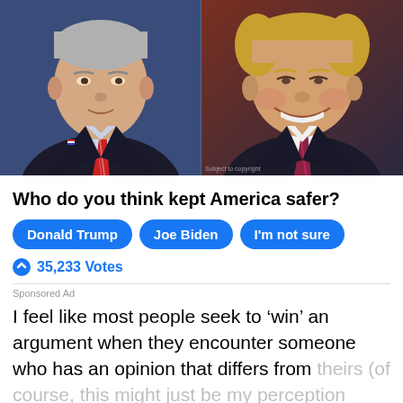[Figure (photo): Side-by-side photos of Joe Biden (left, in dark suit with red striped tie, blue background) and Donald Trump (right, smiling, in dark suit with tie, brownish-red background)]
Who do you think kept America safer?
Donald Trump
Joe Biden
I'm not sure
35,233 Votes
Sponsored Ad
I feel like most people seek to ‘win’ an argument when they encounter someone who has an opinion that differs from theirs (of course, this might just be my perception based on what I see on social